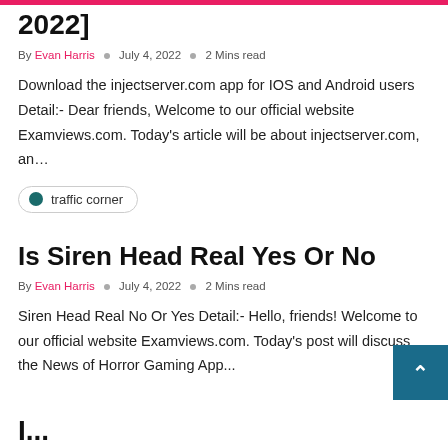2022]
By Evan Harris  ○  July 4, 2022  ○  2 Mins read
Download the injectserver.com app for IOS and Android users Detail:- Dear friends, Welcome to our official website Examviews.com. Today's article will be about injectserver.com, an…
traffic corner
Is Siren Head Real Yes Or No
By Evan Harris  ○  July 4, 2022  ○  2 Mins read
Siren Head Real No Or Yes Detail:- Hello, friends! Welcome to our official website Examviews.com. Today's post will discuss the News of Horror Gaming App…
I...